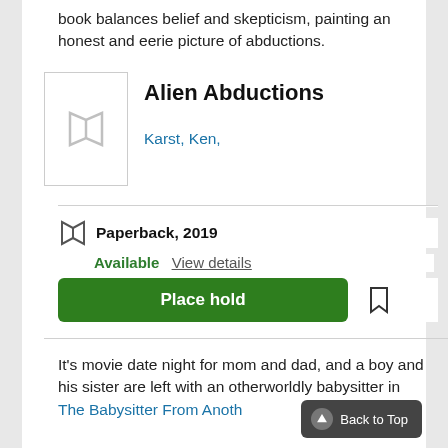book balances belief and skepticism, painting an honest and eerie picture of abductions.
Alien Abductions
Karst, Ken,
Paperback, 2019
Available  View details
Place hold
It's movie date night for mom and dad, and a boy and his sister are left with an otherworldly babysitter in The Babysitter From Anoth…